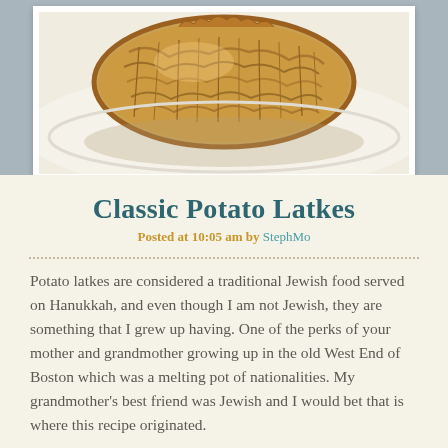[Figure (photo): Close-up photo of a golden-brown crispy potato latke on a white plate, showing shredded potato texture with crispy edges]
Classic Potato Latkes
Posted at 10:05 am by StephMo
Potato latkes are considered a traditional Jewish food served on Hanukkah, and even though I am not Jewish, they are something that I grew up having. One of the perks of your mother and grandmother growing up in the old West End of Boston which was a melting pot of nationalities. My grandmother's best friend was Jewish and I would bet that is where this recipe originated.
You may not be familiar with potato latkes, as many people are not. They look something like a potato pancake, and are